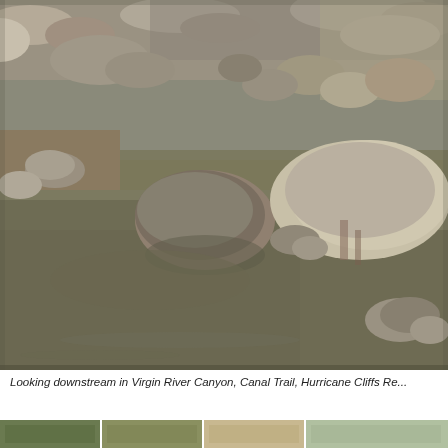[Figure (photo): Looking downstream in Virgin River Canyon, showing shallow rocky river with large boulders and muddy green water. Rocky terrain visible on both sides and in the background.]
Looking downstream in Virgin River Canyon, Canal Trail, Hurricane Cliffs Re...
[Figure (photo): Thumbnail strip of smaller photos at the bottom of the page.]